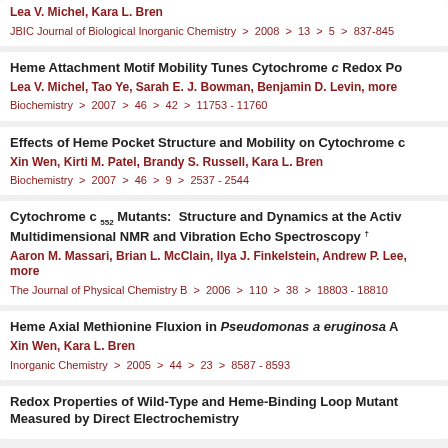Lea V. Michel, Kara L. Bren
JBIC Journal of Biological Inorganic Chemistry > 2008 > 13 > 5 > 837-845
Heme Attachment Motif Mobility Tunes Cytochrome c Redox Po...
Lea V. Michel, Tao Ye, Sarah E. J. Bowman, Benjamin D. Levin, more
Biochemistry > 2007 > 46 > 42 > 11753 - 11760
Effects of Heme Pocket Structure and Mobility on Cytochrome c...
Xin Wen, Kirti M. Patel, Brandy S. Russell, Kara L. Bren
Biochemistry > 2007 > 46 > 9 > 2537 - 2544
Cytochrome c 552 Mutants: Structure and Dynamics at the Active Site Studied by Multidimensional NMR and Vibration Echo Spectroscopy
Aaron M. Massari, Brian L. McClain, Ilya J. Finkelstein, Andrew P. Lee, more
The Journal of Physical Chemistry B > 2006 > 110 > 38 > 18803 - 18810
Heme Axial Methionine Fluxion in Pseudomonas aeruginosa A...
Xin Wen, Kara L. Bren
Inorganic Chemistry > 2005 > 44 > 23 > 8587 - 8593
Redox Properties of Wild-Type and Heme-Binding Loop Mutant... Measured by Direct Electrochemistry